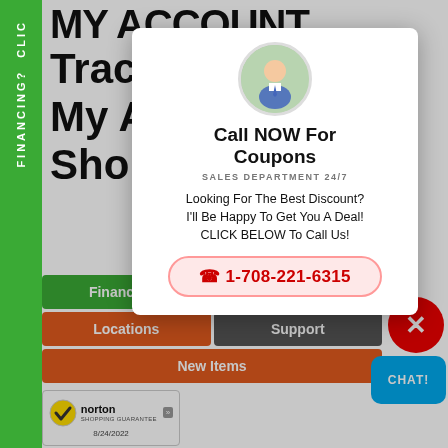[Figure (screenshot): Website screenshot showing My Account page with navigation sidebar, page menu buttons, and a promotional popup modal.]
MY ACCOUNT
Track O[rder]
My Acc[ount]
Shoppi[ng]
Call NOW For Coupons
SALES DEPARTMENT 24/7
Looking For The Best Discount? I'll Be Happy To Get You A Deal! CLICK BELOW To Call Us!
1-708-221-6315
Financing?
Make Offe[r]
Locations
Support
New Items
FINANCING? CLI C
Copyright [text] 8/24/2022
[Figure (logo): Norton Shopping Guarantee badge with checkmark logo, dated 8/24/2022]